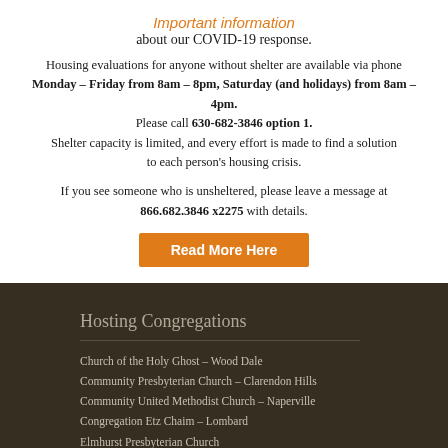Important information about our COVID-19 response.
Housing evaluations for anyone without shelter are available via phone Monday – Friday from 8am – 8pm, Saturday (and holidays) from 8am – 4pm. Please call 630-682-3846 option 1. Shelter capacity is limited, and every effort is made to find a solution to each person's housing crisis.
If you see someone who is unsheltered, please leave a message at 866.682.3846 x2275 with details.
Read More Here
Hosting Congregations
Church of the Holy Ghost – Wood Dale
Community Presbyterian Church – Clarendon Hills
Community United Methodist Church – Naperville
Congregation Etz Chaim – Lombard
Elmhurst Presbyterian Church
First Christian Church – WCC